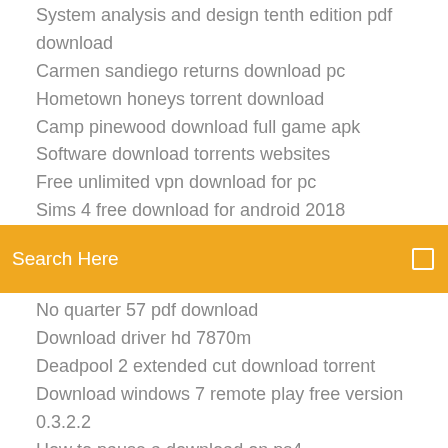System analysis and design tenth edition pdf download
Carmen sandiego returns download pc
Hometown honeys torrent download
Camp pinewood download full game apk
Software download torrents websites
Free unlimited vpn download for pc
Sims 4 free download for android 2018
[Figure (screenshot): Orange search bar with text 'Search Here' and a small icon on the right]
No quarter 57 pdf download
Download driver hd 7870m
Deadpool 2 extended cut download torrent
Download windows 7 remote play free version 0.3.2.2
How to pause a download on ps4
American express mobile app download
Docs pdf download multiple pages
Why cant i download files in messages android
Ms win xp browser download
Download ableton live 10 mac torrent